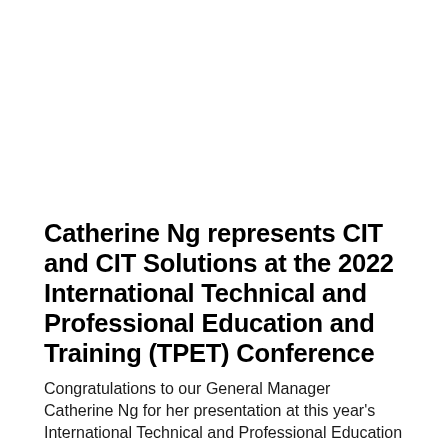Catherine Ng represents CIT and CIT Solutions at the 2022 International Technical and Professional Education and Training (TPET) Conference
Congratulations to our General Manager Catherine Ng for her presentation at this year's International Technical and Professional Education and Training (TPET) Conference. Please note...